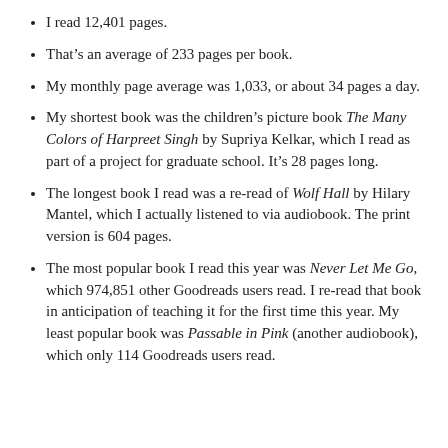I read 12,401 pages.
That's an average of 233 pages per book.
My monthly page average was 1,033, or about 34 pages a day.
My shortest book was the children's picture book The Many Colors of Harpreet Singh by Supriya Kelkar, which I read as part of a project for graduate school. It's 28 pages long.
The longest book I read was a re-read of Wolf Hall by Hilary Mantel, which I actually listened to via audiobook. The print version is 604 pages.
The most popular book I read this year was Never Let Me Go, which 974,851 other Goodreads users read. I re-read that book in anticipation of teaching it for the first time this year. My least popular book was Passable in Pink (another audiobook), which only 114 Goodreads users read.